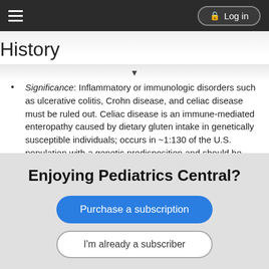History | Log in
History
Significance: Inflammatory or immunologic disorders such as ulcerative colitis, Crohn disease, and celiac disease must be ruled out. Celiac disease is an immune-mediated enteropathy caused by dietary gluten intake in genetically susceptible individuals; occurs in ~1:130 of the U.S. population with a genetic predisposition and should be considered in any child with chronic diarrhea and poor weight gain
Physical Exam
Finding: Stool in left lower quadrant and/or a history of encopresis?
Significance: Chronic loose stools are common in children with functional constipation and large fecal impaction due to overflow incontinence and can be easily mistaken for diarrhea
Enjoying Pediatrics Central?
Purchase a subscription
I'm already a subscriber